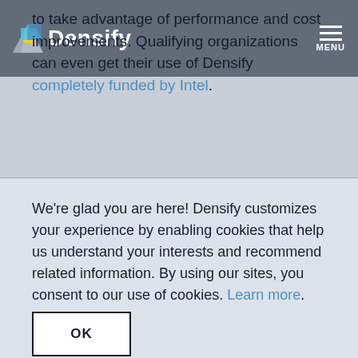[Figure (logo): Densify logo with colorful geometric icon and white text on dark overlay nav bar with hamburger menu and MENU label]
to take advantage of performance and cost improvements. Qualifying organizations can even get their use of Densify completely funded by Intel.
We're glad you are here! Densify customizes your experience by enabling cookies that help us understand your interests and recommend related information. By using our sites, you consent to our use of cookies. Learn more.